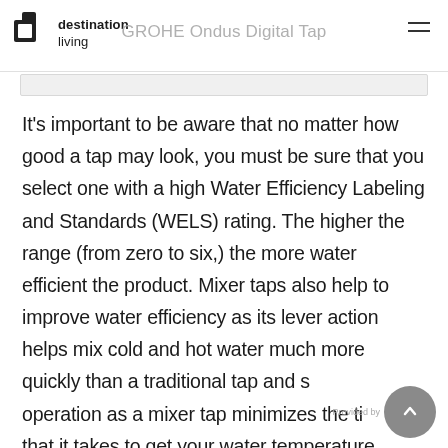destination living | GROHE Ondus Digital Tap
It's important to be aware that no matter how good a tap may look, you must be sure that you select one with a high Water Efficiency Labeling and Standards (WELS) rating. The higher the range (from zero to six,) the more water efficient the product. Mixer taps also help to improve water efficiency as its lever action helps mix cold and hot water much more quickly than a traditional tap and s… operation as a mixer tap minimizes the ti… that it takes to get your water temperature…